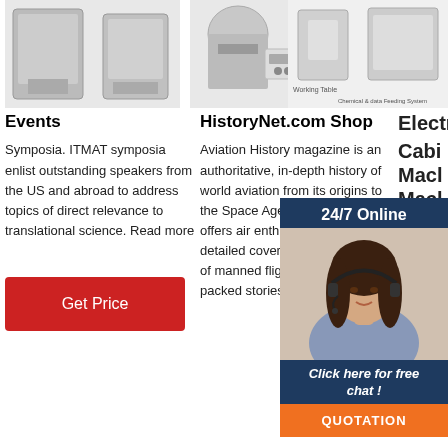[Figure (photo): Top row of industrial machine images: two machines on the left, two in the middle, and one image on the right with text labels 'Working Table' and 'Chemical & data Feeding System']
Events
Symposia. ITMAT symposia enlist outstanding speakers from the US and abroad to address topics of direct relevance to translational science. Read more
[Figure (other): Red 'Get Price' button]
HistoryNet.com Shop
Aviation History magazine is an authoritative, in-depth history of world aviation from its origins to the Space Age. Aviation History offers air enthusiasts the most detailed coverage of the history of manned flight, with action-packed stories and
Electrical Cabinet...Machine Machine
We are field. W The sc WINM with I. Equip Corner Forming Machine, 2.Press Brake Machine, 3.Pu Gasket Machine 4.Spot Welding Machine, etc.) II.PU
[Figure (infographic): 24/7 Online chat widget with woman in headset photo, 'Click here for free chat!' text, and orange QUOTATION button]